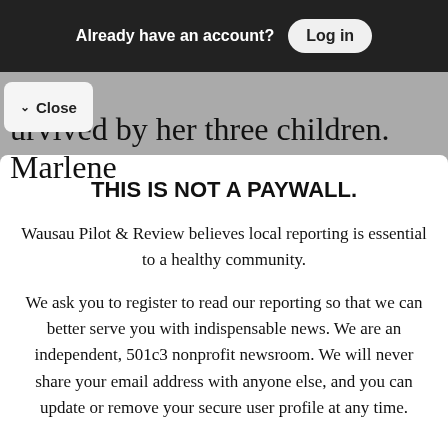Already have an account? Log in
urvived by her three children. Marlene
Close
THIS IS NOT A PAYWALL.
Wausau Pilot & Review believes local reporting is essential to a healthy community.
We ask you to register to read our reporting so that we can better serve you with indispensable news. We are an independent, 501c3 nonprofit newsroom. We will never share your email address with anyone else, and you can update or remove your secure user profile at any time.